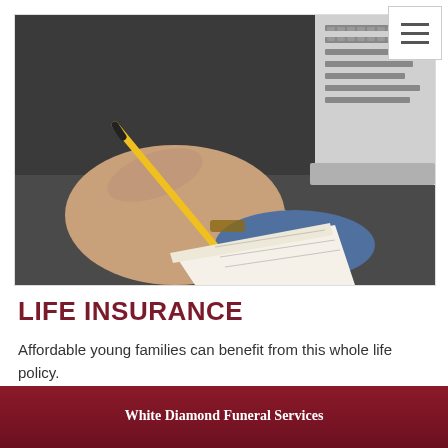[Figure (photo): Close-up photo of a person's hand holding a yellow pen and writing on paper, with a laptop keyboard visible in the background on a dark desk surface.]
LIFE INSURANCE
Affordable young families can benefit from this whole life policy.
White Diamond Funeral Services